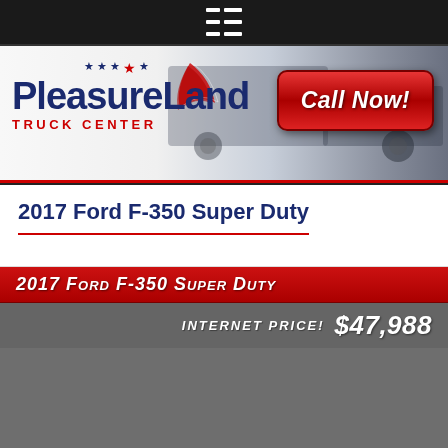[Figure (screenshot): Mobile navigation bar with hamburger/list menu icon on dark background]
[Figure (logo): PleasureLand Truck Center logo with stars and eagle design, with Call Now! red button on the right]
2017 Ford F-350 Super Duty
2017 Ford F-350 Super Duty
INTERNET PRICE! $47,988
[Figure (photo): Vehicle photo area — gray placeholder for truck image]